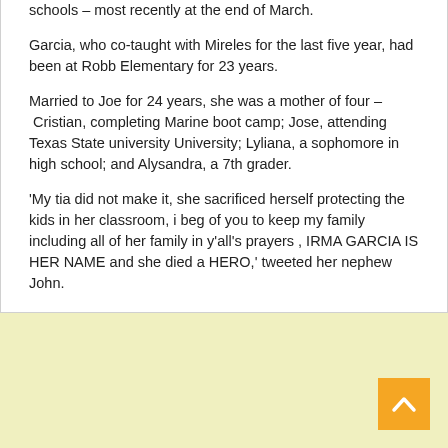schools – most recently at the end of March.
Garcia, who co-taught with Mireles for the last five year, had been at Robb Elementary for 23 years.
Married to Joe for 24 years, she was a mother of four – Cristian, completing Marine boot camp; Jose, attending Texas State university University; Lyliana, a sophomore in high school; and Alysandra, a 7th grader.
'My tia did not make it, she sacrificed herself protecting the kids in her classroom, i beg of you to keep my family including all of her family in y'all's prayers , IRMA GARCIA IS HER NAME and she died a HERO,' tweeted her nephew John.